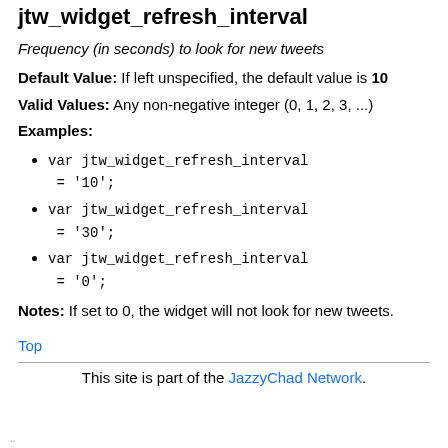jtw_widget_refresh_interval
Frequency (in seconds) to look for new tweets
Default Value: If left unspecified, the default value is 10
Valid Values: Any non-negative integer (0, 1, 2, 3, ...)
Examples:
var jtw_widget_refresh_interval = '10';
var jtw_widget_refresh_interval = '30';
var jtw_widget_refresh_interval = '0';
Notes: If set to 0, the widget will not look for new tweets.
Top
This site is part of the JazzyChad Network.